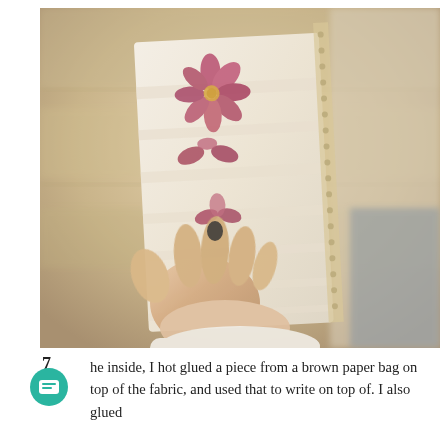[Figure (photo): A close-up photo of a hand holding a piece of fabric decorated with pressed flower prints (pink/red floral imprints). The fabric has horizontal stripes and a lace trim on the right edge. The background is warm and blurred.]
7
he inside, I hot glued a piece from a brown paper bag on top of the fabric, and used that to write on top of. I also glued